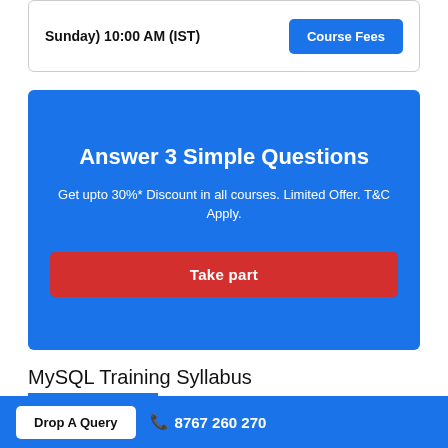Sunday)  10:00 AM (IST)
Course Fees
Answer 3 Simple Questions
Get upto 30%* Discount in all courses. Limited Offer. T&C Apply.
Take part
MySQL Training Syllabus
Theory, Terminology and Concepts
Drop A Query   📞 8767 260 270